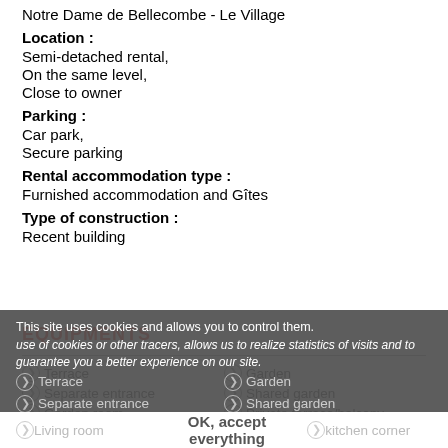Notre Dame de Bellecombe - Le Village
Location : Semi-detached rental, On the same level, Close to owner
Parking : Car park, Secure parking
Rental accommodation type : Furnished accommodation and Gîtes
Type of construction : Recent building
EQUIPMENTS
Terrace
Garden
Separate entrance
Shared garden
Garden room
Private terrace/balcony
Living room
kitchen corner
This site uses cookies and allows you to control them. use of cookies or other tracers, allows us to realize statistics of visits and to guarantee you a better experience on our site.
OK, accept everything